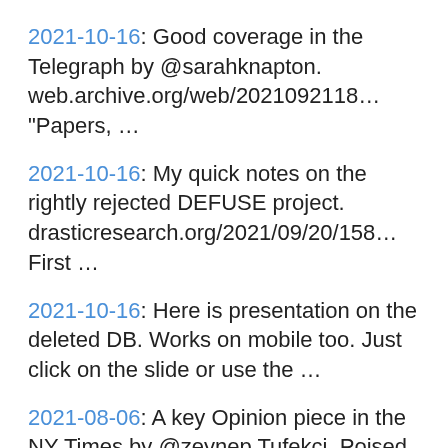2021-10-16: Good coverage in the Telegraph by @sarahknapton. web.archive.org/web/2021092118… "Papers, …
2021-10-16: My quick notes on the rightly rejected DEFUSE project. drasticresearch.org/2021/09/20/158… First …
2021-10-16: Here is presentation on the deleted DB. Works on mobile too. Just click on the slide or use the …
2021-08-06: A key Opinion piece in the NY Times by @zeynep Tufekci. Poised, detailed and well argued. It is a …